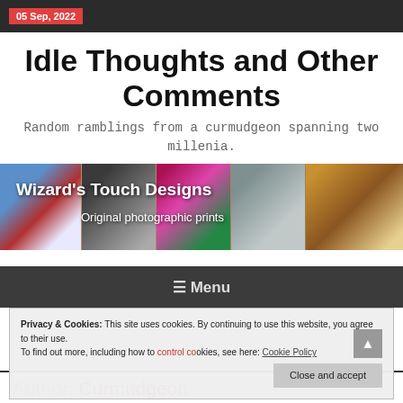05 Sep, 2022
Idle Thoughts and Other Comments
Random ramblings from a curmudgeon spanning two millenia.
[Figure (photo): Banner image for Wizard's Touch Designs showing collage of photos with text: Wizard's Touch Designs, Original photographic prints]
Privacy & Cookies: This site uses cookies. By continuing to use this website, you agree to their use. To find out more, including how to control cookies, see here: Cookie Policy
Close and accept
Author: Curmudgeon